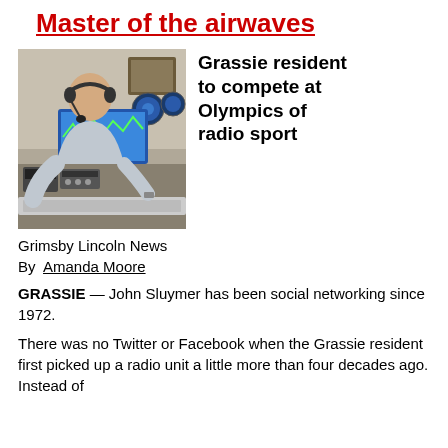Master of the airwaves
[Figure (photo): Man wearing headset sitting at a radio station desk with equipment and monitors]
Grassie resident to compete at Olympics of radio sport
Grimsby Lincoln News
By  Amanda Moore
GRASSIE — John Sluymer has been social networking since 1972.
There was no Twitter or Facebook when the Grassie resident first picked up a radio unit a little more than four decades ago. Instead of